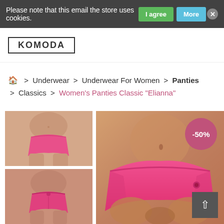Please note that this email the store uses cookies.
KOMODA
Underwear > Underwear For Women > Panties > Classics > Women's Panties Classic "Elianna"
[Figure (photo): Product page screenshot showing pink women's panties (classic Elianna style) from Komoda store. Main large photo shows model wearing pink panties, two smaller thumbnail images on the left show front and back views. A -50% discount badge is visible in top right of product area.]
-50%
↑